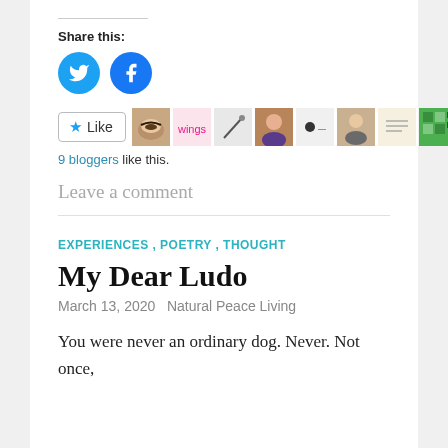Share this:
[Figure (other): Twitter and Facebook round share buttons]
[Figure (other): Like button and 9 blogger avatars]
9 bloggers like this.
Leave a comment
EXPERIENCES , POETRY , THOUGHT
My Dear Ludo
March 13, 2020   Natural Peace Living
You were never an ordinary dog. Never. Not once,